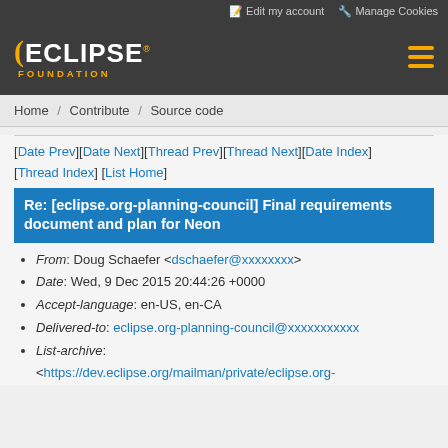Edit my account  Manage Cookies
[Figure (logo): Eclipse Foundation logo with orange arc and hamburger menu icon]
Home / Contribute / Source code
[Date Prev][Date Next][Thread Prev][Thread Next][Date Index][Thread Index] [List Home]
Re: [eclipse.org-planning-council] Final requirements document and plan for Neon
From: Doug Schaefer <dschaefer@xxxxxxxx>
Date: Wed, 9 Dec 2015 20:44:26 +0000
Accept-language: en-US, en-CA
Delivered-to: eclipse.org-planning-council@xxxxxxxxxxx
List-archive: <https://dev.eclipse.org/mailman/private/eclipse.org-